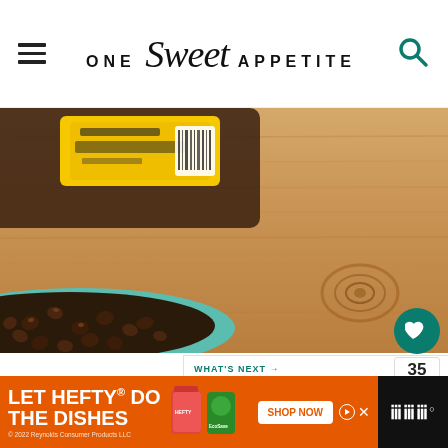ONE Sweet APPETITE
[Figure (photo): Top-down photo of a wooden cutting board with a bottle of vanilla extract partially visible in the upper left, and a bowl with a teal/mint rim filled with chocolate chips in the lower left. A wood knot is visible in the lower right area.]
35
WHAT'S NEXT → Copycat Oreo Cookies...
[Figure (photo): Small thumbnail image of Copycat Oreo Cookies - a stack of dark chocolate sandwich cookies]
[Figure (advertisement): Hefty brand advertisement with orange background. Text reads: LET HEFTY DO THE DISHES. Shows product images of Hefty dishes and EcoSave products. SHOP NOW button. © 2022 Reynolds Consumer Products LLC]